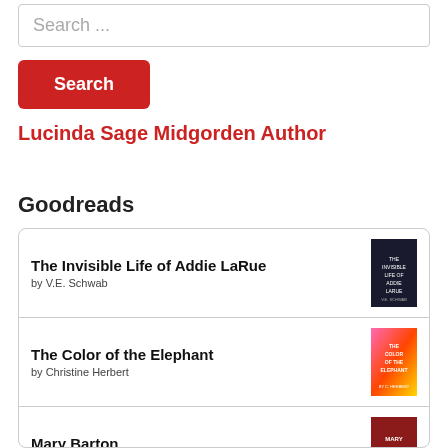Search ...
Search
Lucinda Sage Midgorden Author
Goodreads
The Invisible Life of Addie LaRue by V.E. Schwab
The Color of the Elephant by Christine Herbert
Mary Barton by Elizabeth Gaskell